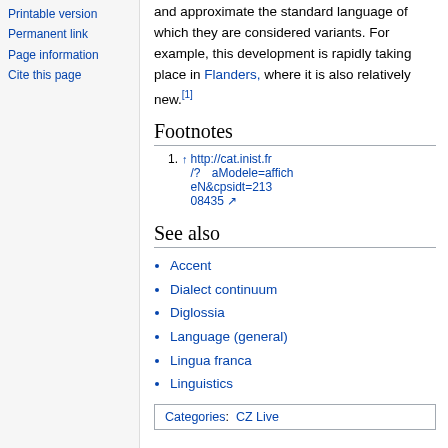Printable version
Permanent link
Page information
Cite this page
and approximate the standard language of which they are considered variants. For example, this development is rapidly taking place in Flanders, where it is also relatively new.[1]
Footnotes
1. ↑ http://cat.inist.fr/?  aModele=afficheN&cpsidt=21308435
See also
Accent
Dialect continuum
Diglossia
Language (general)
Lingua franca
Linguistics
Categories:  CZ Live